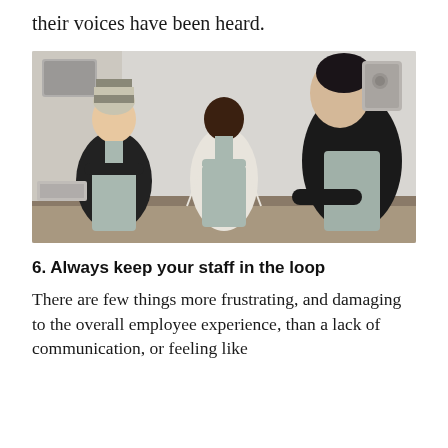their voices have been heard.
[Figure (photo): Three restaurant workers wearing aprons in a kitchen setting, engaged in conversation. One person on the left wears a striped hat and has arms crossed, one in the center is smiling, and one on the right faces away from camera.]
6. Always keep your staff in the loop
There are few things more frustrating, and damaging to the overall employee experience, than a lack of communication, or feeling like